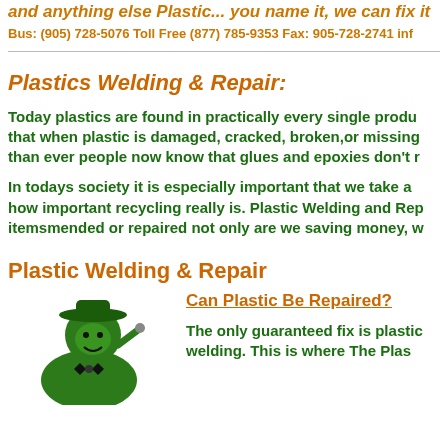and anything else Plastic... you name it, we can fix it
Bus: (905) 728-5076 Toll Free (877) 785-9353 Fax: 905-728-2741 inf...
Plastics Welding & Repair:
Today plastics are found in practically every single produ... that when plastic is damaged, cracked, broken,or missing ... than ever people now know that glues and epoxies don't r...
In todays society it is especially important that we take a... how important recycling really is. Plastic Welding and Rep... itemsmended or repaired not only are we saving money, w...
Plastic Welding & Repair
[Figure (illustration): Green cartoon mascot figure of a welder/repairman character wearing a hat, partially visible at bottom left of page]
Can Plastic Be Repaired?
The only guaranteed fix is plastic welding. This is where The Pla...